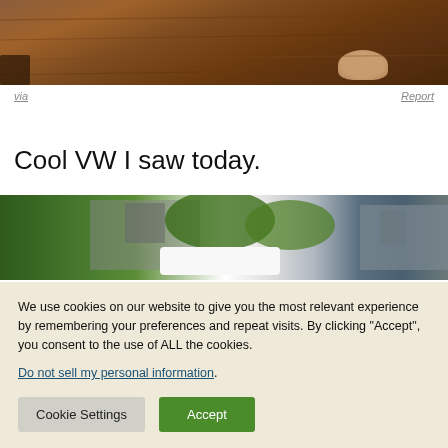[Figure (photo): Cropped photo showing feet/legs on a wooden floor, partially visible]
via
Report
Cool VW I saw today.
[Figure (photo): Partial photo of a VW vehicle on a street with trees and buildings in background, with a share button overlay]
We use cookies on our website to give you the most relevant experience by remembering your preferences and repeat visits. By clicking “Accept”, you consent to the use of ALL the cookies.
Do not sell my personal information.